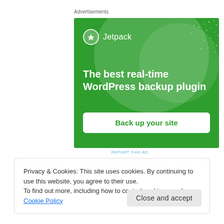Advertisements
[Figure (illustration): Jetpack plugin advertisement on green background with logo, headline 'The best real-time WordPress backup plugin', and a 'Back up your site' button]
REPORT THIS AD
Privacy & Cookies: This site uses cookies. By continuing to use this website, you agree to their use.
To find out more, including how to control cookies, see here: Cookie Policy
Close and accept